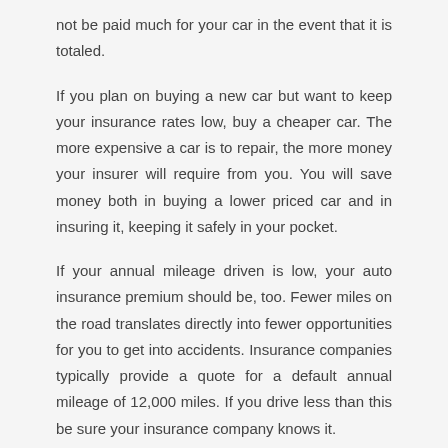not be paid much for your car in the event that it is totaled.
If you plan on buying a new car but want to keep your insurance rates low, buy a cheaper car. The more expensive a car is to repair, the more money your insurer will require from you. You will save money both in buying a lower priced car and in insuring it, keeping it safely in your pocket.
If your annual mileage driven is low, your auto insurance premium should be, too. Fewer miles on the road translates directly into fewer opportunities for you to get into accidents. Insurance companies typically provide a quote for a default annual mileage of 12,000 miles. If you drive less than this be sure your insurance company knows it.
Choosing your auto insurance plan is an important